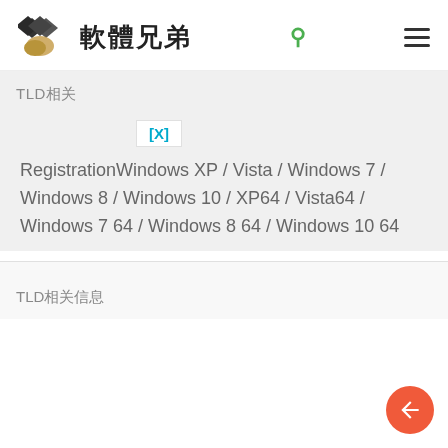軟體兄弟
TLD相关
[X]
RegistrationWindows XP / Vista / Windows 7 / Windows 8 / Windows 10 / XP64 / Vista64 / Windows 7 64 / Windows 8 64 / Windows 10 64
TLD相关信息